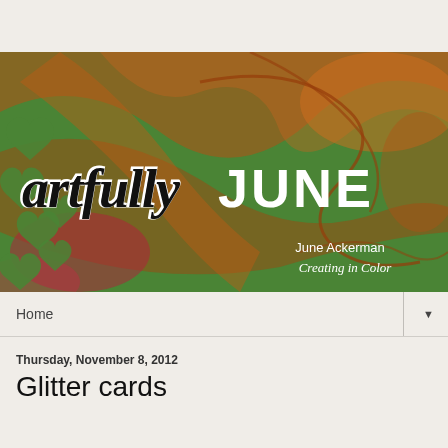[Figure (illustration): Blog header banner for 'artfully JUNE' by June Ackerman - Creating in Color. Features a green background with decorative heart cutouts on the left and orange/red swirling botanical patterns. Text overlay shows 'artfully' in black script and 'JUNE' in bold white, with 'June Ackerman / Creating in Color' in the bottom right.]
Home
Thursday, November 8, 2012
Glitter cards